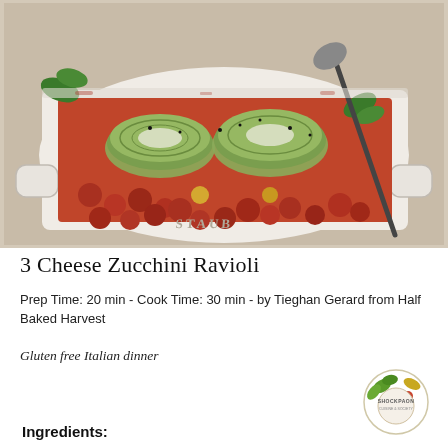[Figure (photo): Overhead photo of a white Staub baking dish containing zucchini ravioli rolls with cherry tomatoes in tomato sauce, garnished with basil leaves and black pepper, with a serving spoon]
3 Cheese Zucchini Ravioli
Prep Time: 20 min - Cook Time: 30 min - by Tieghan Gerard from Half Baked Harvest
Gluten free Italian dinner
Ingredients:
[Figure (logo): ShockPaon circular logo with green leaf and food imagery]